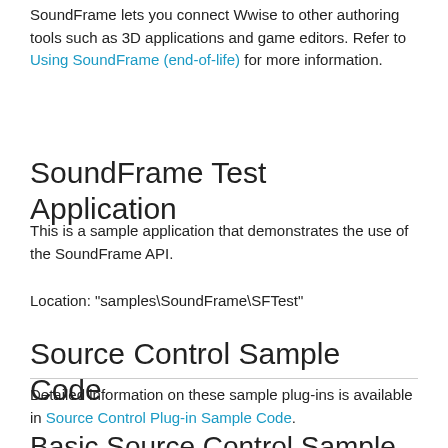SoundFrame lets you connect Wwise to other authoring tools such as 3D applications and game editors. Refer to Using SoundFrame (end-of-life) for more information.
SoundFrame Test Application
This is a sample application that demonstrates the use of the SoundFrame API.
Location: "samples\SoundFrame\SFTest"
Source Control Sample Code
Detailed information on these sample plug-ins is available in Source Control Plug-in Sample Code.
Basic Source Control Sample Plug-in
This is a sample DLL project that shows how to create a